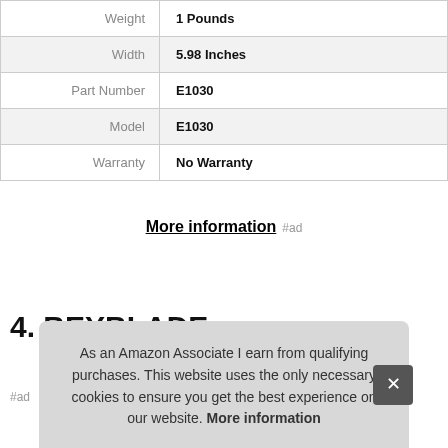|  |  |
| --- | --- |
| Weight | 1 Pounds |
| Width | 5.98 Inches |
| Part Number | E1030 |
| Model | E1030 |
| Warranty | No Warranty |
More information #ad
4. BEYBLADE
#ad
As an Amazon Associate I earn from qualifying purchases. This website uses the only necessary cookies to ensure you get the best experience on our website. More information